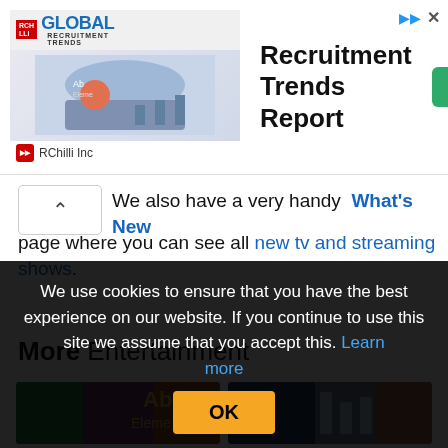[Figure (other): Advertisement banner for RChilli Global Recruitment Trends Report with an Open button]
We also have a very handy What's New page where you can see all new tv and streaming shows.
More Entertainment
[Figure (photo): Two thumbnail images for entertainment articles]
We use cookies to ensure that you have the best experience on our website. If you continue to use this site we assume that you accept this. Learn more OK